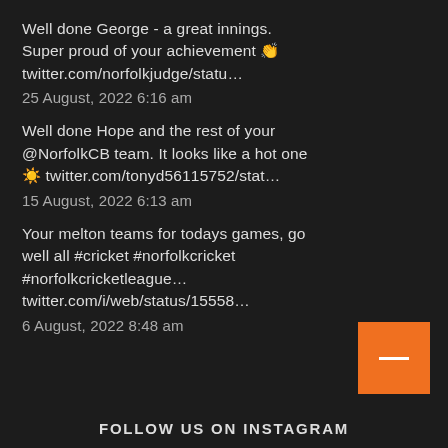Well done George - a great innings. Super proud of your achievement 👏 twitter.com/norfolkjudge/statu…
25 August, 2022 6:16 am
Well done Hope and the rest of your @NorfolkCB team. It looks like a hot one ☀️ twitter.com/tonyd56115752/stat…
15 August, 2022 6:13 am
Your melton teams for todays games, go well all #cricket #norfolkcricket #norfolkcricketleague… twitter.com/i/web/status/15558…
6 August, 2022 8:48 am
FOLLOW US ON INSTAGRAM